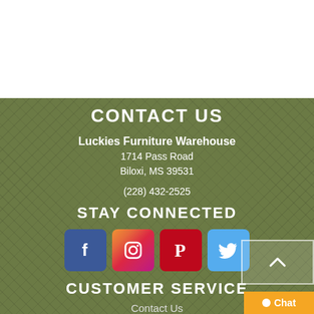CONTACT US
Luckies Furniture Warehouse
1714 Pass Road
Biloxi, MS 39531
(228) 432-2525
STAY CONNECTED
[Figure (illustration): Social media icons: Facebook, Instagram, Pinterest, Twitter]
CUSTOMER SERVICE
Contact Us